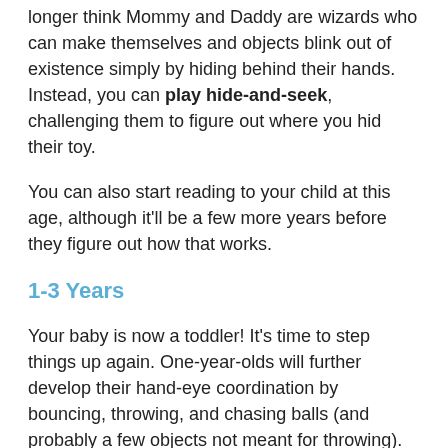longer think Mommy and Daddy are wizards who can make themselves and objects blink out of existence simply by hiding behind their hands. Instead, you can play hide-and-seek, challenging them to figure out where you hid their toy.
You can also start reading to your child at this age, although it'll be a few more years before they figure out how that works.
1-3 Years
Your baby is now a toddler! It's time to step things up again. One-year-olds will further develop their hand-eye coordination by bouncing, throwing, and chasing balls (and probably a few objects not meant for throwing). Visual skills are linked with other important developmental skills, like balance and comprehension. They'll start putting names to objects, and they'll love rocking horses and other simple riding toys.